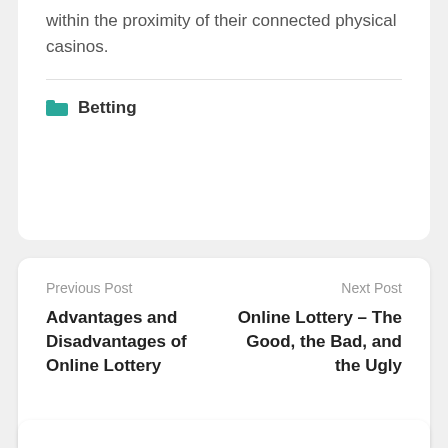within the proximity of their connected physical casinos.
Betting
Previous Post
Advantages and Disadvantages of Online Lottery
Next Post
Online Lottery – The Good, the Bad, and the Ugly